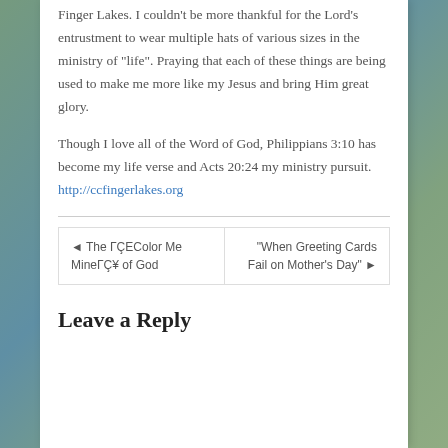Finger Lakes. I couldn't be more thankful for the Lord's entrustment to wear multiple hats of various sizes in the ministry of "life". Praying that each of these things are being used to make me more like my Jesus and bring Him great glory.
Though I love all of the Word of God, Philippians 3:10 has become my life verse and Acts 20:24 my ministry pursuit. http://ccfingerlakes.org
◄ The ΓÇEColor Me MineΓÇ¥ of God
"When Greeting Cards Fail on Mother's Day" ►
Leave a Reply